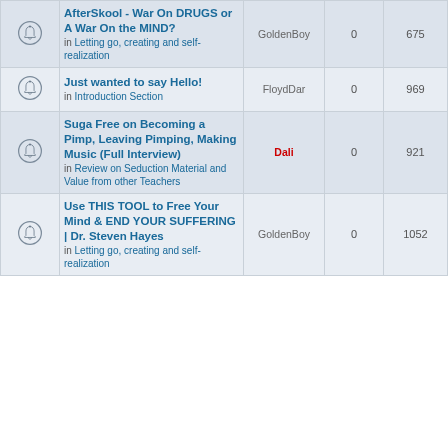|  | Topic | Author | Replies | Views | Last Post |
| --- | --- | --- | --- | --- | --- |
| [bell] | AfterSkool - War On DRUGS or A War On the MIND?
in Letting go, creating and self-realization | GoldenBoy | 0 | 675 | Sat Jul 09, 2022 11:01 am
GoldenBoy → |
| [bell] | Just wanted to say Hello!
in Introduction Section | FloydDar | 0 | 969 | Sat Jul 09, 2022 5:07 am
FloydDar → |
| [bell] | Suga Free on Becoming a Pimp, Leaving Pimping, Making Music (Full Interview)
in Review on Seduction Material and Value from other Teachers | Dali | 0 | 921 | Wed Jun 15, 2022 9:40 pm
Dali → |
| [bell] | Use THIS TOOL to Free Your Mind & END YOUR SUFFERING | Dr. Steven Hayes
in Letting go, creating and self-realization | GoldenBoy | 0 | 1052 | Sat May 07, 2022 5:50 pm
GoldenBoy → |